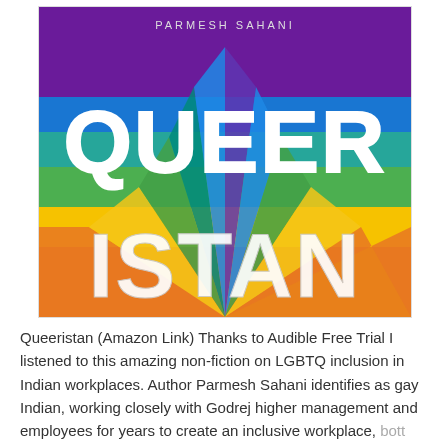[Figure (illustration): Book cover of 'Queeristan' featuring large bold white text on a rainbow-striped background with converging rays of color (purple, blue, green, yellow, orange). The word 'QUEER' appears on top and 'ISTAN' below in large white letters.]
Queeristan (Amazon Link) Thanks to Audible Free Trial I listened to this amazing non-fiction on LGBTQ inclusion in Indian workplaces. Author Parmesh Sahani identifies as gay Indian, working closely with Godrej higher management and employees for years to create an inclusive workplace, bott...